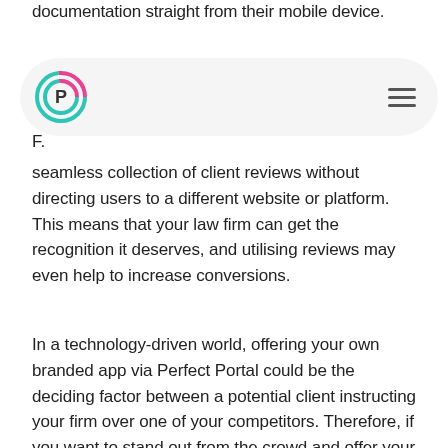documentation straight from their mobile device.
[Figure (logo): Perfect Portal logo — stylized P letter in teal/pink circular design]
F.
seamless collection of client reviews without directing users to a different website or platform. This means that your law firm can get the recognition it deserves, and utilising reviews may even help to increase conversions.
In a technology-driven world, offering your own branded app via Perfect Portal could be the deciding factor between a potential client instructing your firm over one of your competitors. Therefore, if you want to stand out from the crowd and offer your clients the best service available, then you should expand your